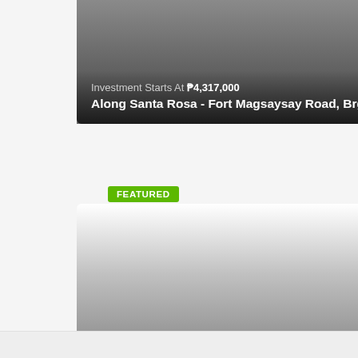[Figure (photo): Property listing card with dark gradient overlay showing investment price and property name at top of page]
Investment Starts At ₱4,317,000
Along Santa Rosa - Fort Magsaysay Road, Brgy. Sole...
FEATURED
[Figure (photo): Loading property listing card with dark gradient overlay and loading spinner, showing investment price and property name]
Investment starts at ₱5,052,000
Camella Savannah, Pavia, Iloilo